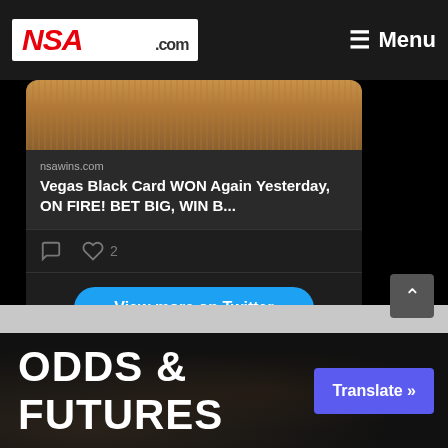NSAWINS.com — Menu
[Figure (screenshot): Twitter/X embedded card widget showing a link to nsawins.com with title 'Vegas Black Card WON Again Yesterday, ON FIRE! BET BIG, WIN B...' with 2 likes and a 'View more on Twitter' button and 'Learn more about privacy on Twitter' link]
ODDS & FUTURES
Translate »